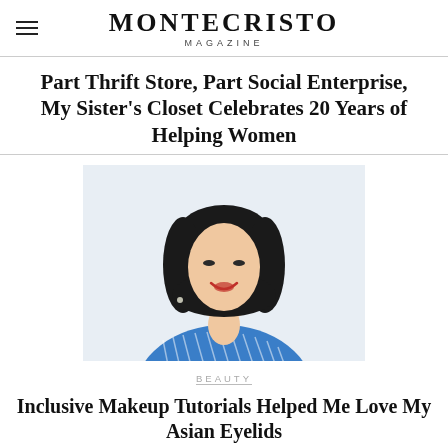MONTECRISTO MAGAZINE
Part Thrift Store, Part Social Enterprise, My Sister’s Closet Celebrates 20 Years of Helping Women
[Figure (photo): Portrait photo of a smiling woman with shoulder-length black hair wearing a blue and white striped shirt, on a white background]
BEAUTY
Inclusive Makeup Tutorials Helped Me Love My Asian Eyelids